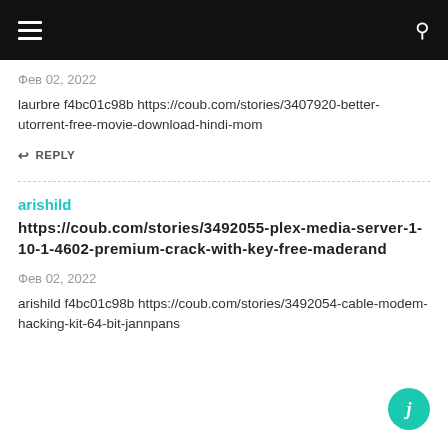≡  🔍
Фев 02, 2022
laurbre f4bc01c98b https://coub.com/stories/3407920-better-utorrent-free-movie-download-hindi-mom
↩ REPLY
arishild
https://coub.com/stories/3492055-plex-media-server-1-10-1-4602-premium-crack-with-key-free-maderand
Фев 02, 2022
arishild f4bc01c98b https://coub.com/stories/3492054-cable-modem-hacking-kit-64-bit-jannpans